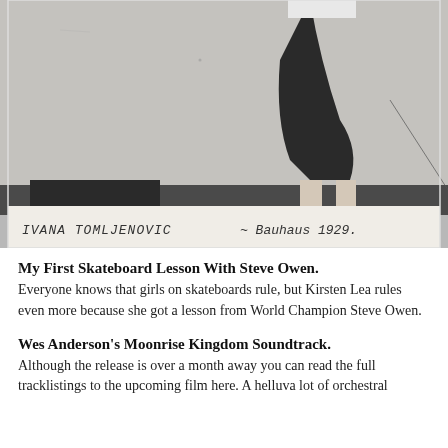[Figure (photo): Black and white photograph (polaroid style) showing a person standing on what appears to be a surface, visible from waist down wearing a dark skirt and sneakers. The bottom of the photo has a white border with handwritten text: 'IVANA TOMLJENOVIC - Bauhaus 1929.']
IVANA TOMLJENOVIC ~ Bauhaus 1929.
My First Skateboard Lesson With Steve Owen.
Everyone knows that girls on skateboards rule, but Kirsten Lea rules even more because she got a lesson from World Champion Steve Owen.
Wes Anderson's Moonrise Kingdom Soundtrack.
Although the release is over a month away you can read the full tracklistings to the upcoming film here. A helluva lot of orchestral